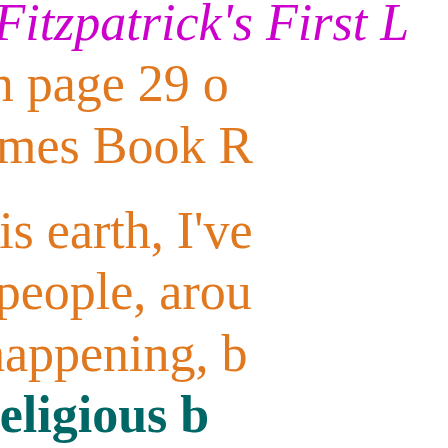motion law in 1966. Fitzpatrick's First Law a full page about it on page 29 of the Sunday, New York Times Book R
In my 87th year on this earth, I've convince quite a few people, around this is what is really happening, b change established religious b exactly what today's modern phys saw that in 1954.
While we cannot obtain a Unified obtain a working relative motion speed for voltage and mass for c Law. We now have the computing ourselves a working relative mo sound impossible but this actually